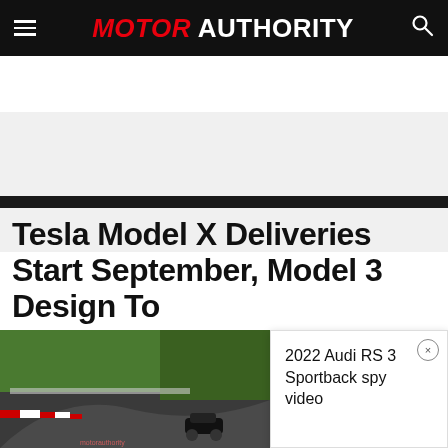MOTOR AUTHORITY
[Figure (screenshot): Gray advertisement/banner placeholder area]
Tesla Model X Deliveries Start September, Model 3 Design To
[Figure (screenshot): Video thumbnail showing a car on a race track (Nurburgring) with a play button overlay]
2022 Audi RS 3 Sportback spy video